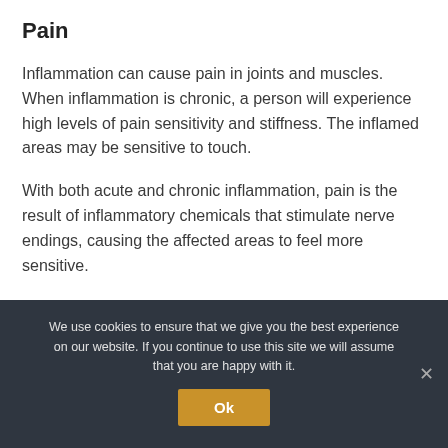Pain
Inflammation can cause pain in joints and muscles. When inflammation is chronic, a person will experience high levels of pain sensitivity and stiffness. The inflamed areas may be sensitive to touch.
With both acute and chronic inflammation, pain is the result of inflammatory chemicals that stimulate nerve endings, causing the affected areas to feel more sensitive.
We use cookies to ensure that we give you the best experience on our website. If you continue to use this site we will assume that you are happy with it.